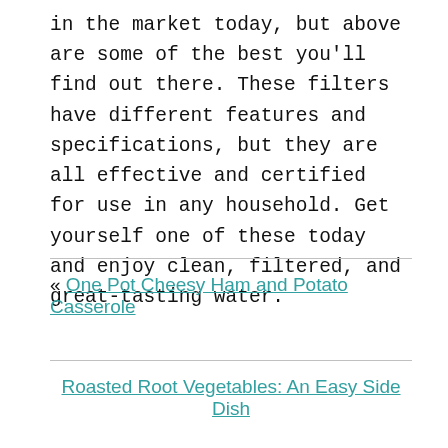in the market today, but above are some of the best you'll find out there. These filters have different features and specifications, but they are all effective and certified for use in any household. Get yourself one of these today and enjoy clean, filtered, and great-tasting water.
« One Pot Cheesy Ham and Potato Casserole
Roasted Root Vegetables: An Easy Side Dish